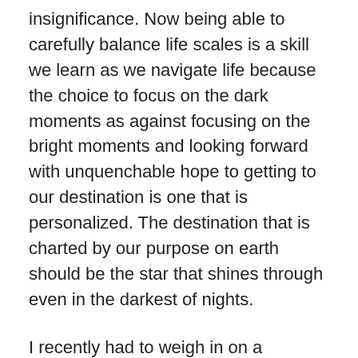insignificance. Now being able to carefully balance life scales is a skill we learn as we navigate life because the choice to focus on the dark moments as against focusing on the bright moments and looking forward with unquenchable hope to getting to our destination is one that is personalized. The destination that is charted by our purpose on earth should be the star that shines through even in the darkest of nights.
I recently had to weigh in on a trending situation about faith and religion, and trust me, I try absolutely to make my stance clear. There is absolutely no points scored in kicking one who is already down neither is there anything vaguely resembling authority when you hide behind the innocuous threats of a past life in order to pillage that which you are supposed to be watching over. It bothers on the absurd when you manipulate lives that should be